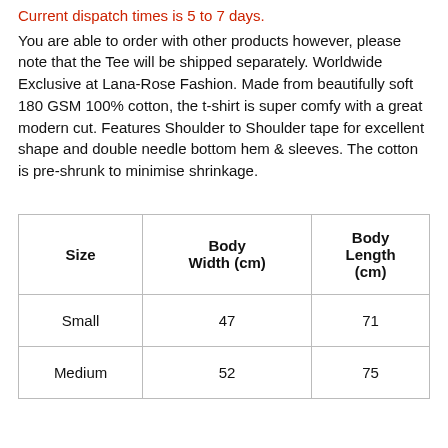Current dispatch times is 5 to 7 days.
You are able to order with other products however, please note that the Tee will be shipped separately. Worldwide Exclusive at Lana-Rose Fashion. Made from beautifully soft 180 GSM 100% cotton, the t-shirt is super comfy with a great modern cut. Features Shoulder to Shoulder tape for excellent shape and double needle bottom hem & sleeves. The cotton is pre-shrunk to minimise shrinkage.
| Size | Body Width (cm) | Body Length (cm) |
| --- | --- | --- |
| Small | 47 | 71 |
| Medium | 52 | 75 |